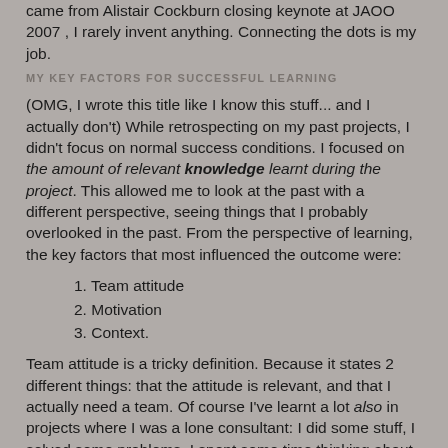came from Alistair Cockburn closing keynote at JAOO 2007 , I rarely invent anything. Connecting the dots is my job.
MY KEY FACTORS FOR SUCCESSFUL LEARNING
(OMG, I wrote this title like I know this stuff... and I actually don't) While retrospecting on my past projects, I didn't focus on normal success conditions. I focused on the amount of relevant knowledge learnt during the project. This allowed me to look at the past with a different perspective, seeing things that I probably overlooked in the past. From the perspective of learning, the key factors that most influenced the outcome were:
Team attitude
Motivation
Context.
Team attitude is a tricky definition. Because it states 2 different things: that the attitude is relevant, and that I actually need a team. Of course I've learnt a lot also in projects where I was a lone consultant: I did some stuff, I solved some problems, I spent some time thinking about